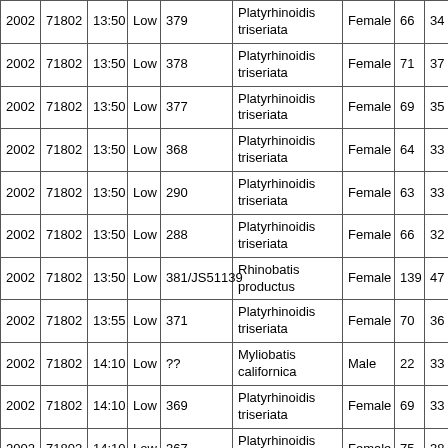| Year | Site | Time | Tide | Tag# | Species | Sex | TL | DW |
| --- | --- | --- | --- | --- | --- | --- | --- | --- |
| 2002 | 71802 | 13:50 | Low | 379 | Platyrhinoidis triseriata | Female | 66 | 34 |
| 2002 | 71802 | 13:50 | Low | 378 | Platyrhinoidis triseriata | Female | 71 | 37 |
| 2002 | 71802 | 13:50 | Low | 377 | Platyrhinoidis triseriata | Female | 69 | 35 |
| 2002 | 71802 | 13:50 | Low | 368 | Platyrhinoidis triseriata | Female | 64 | 33 |
| 2002 | 71802 | 13:50 | Low | 290 | Platyrhinoidis triseriata | Female | 63 | 33 |
| 2002 | 71802 | 13:50 | Low | 288 | Platyrhinoidis triseriata | Female | 66 | 32 |
| 2002 | 71802 | 13:50 | Low | 381/JS51139 | Rhinobatis productus | Female | 139 | 47 |
| 2002 | 71802 | 13:55 | Low | 371 | Platyrhinoidis triseriata | Female | 70 | 36 |
| 2002 | 71802 | 14:10 | Low | ?? | Myliobatis californica | Male | 22 | 33 |
| 2002 | 71802 | 14:10 | Low | 369 | Platyrhinoidis triseriata | Female | 69 | 33 |
| 2002 | 71802 | 14:10 | Low | 367 | Platyrhinoidis triseriata | Female | 75 | 38 |
| 2002 | 71802 | 14:30 | Low | ?? | Triakis semifasciata | Female | 46 | n/a |